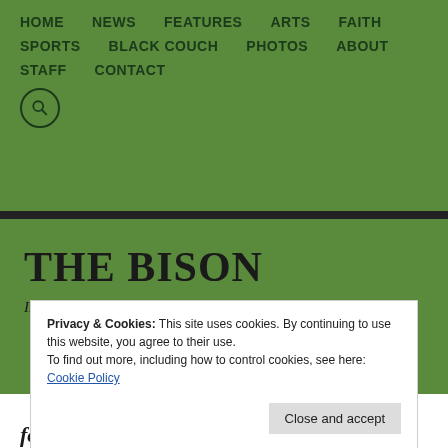HOME  NEWS  FEATURES  ARTS  FAITH  SPORTS  BLACK COUCH  PHOTOS  ABOUT  STAFF  CONTACT
THE BISON
Inspiring the community with Christ-minded news.
Privacy & Cookies: This site uses cookies. By continuing to use this website, you agree to their use.
To find out more, including how to control cookies, see here: Cookie Policy
Close and accept
follows God's will, plan